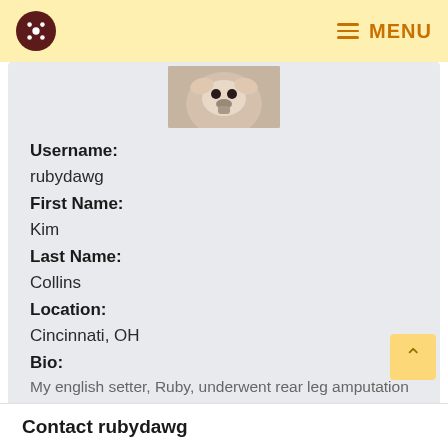MENU
[Figure (photo): Close-up photo of a dog's face (English setter) from above, partially cropped]
Username:
rubydawg
First Name:
Kim
Last Name:
Collins
Location:
Cincinnati, OH
Bio:
My english setter, Ruby, underwent rear leg amputation on 3/18/10. Biopsy results have come from CSU as stage 1 fibrosarcoma, so that was good. I have found this website to be a fantastic knowledge & emotional resource for me!
Contact rubydawg